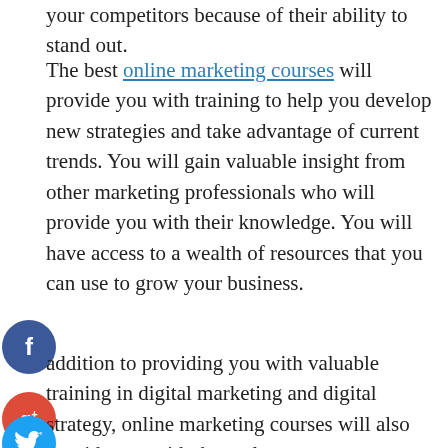your competitors because of their ability to stand out.
The best online marketing courses will provide you with training to help you develop new strategies and take advantage of current trends. You will gain valuable insight from other marketing professionals who will provide you with their knowledge. You will have access to a wealth of resources that you can use to grow your business.
In addition to providing you with valuable training in digital marketing and digital strategy, online marketing courses will also provide you with the tools necessary to ensure that your digital services are delivered as promised. Your course will contain materials that will help you test and track your digital services to ensure